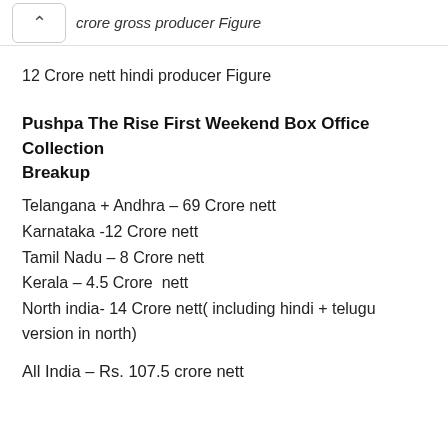crore gross producer Figure
12 Crore nett hindi producer Figure
Pushpa The Rise First Weekend Box Office Collection Breakup
Telangana + Andhra – 69 Crore nett
Karnataka -12 Crore nett
Tamil Nadu – 8 Crore nett
Kerala – 4.5 Crore  nett
North india- 14 Crore nett( including hindi + telugu version in north)
All India – Rs. 107.5 crore nett